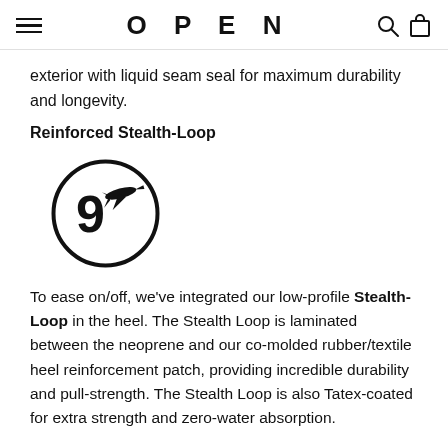OPEN
exterior with liquid seam seal for maximum durability and longevity.
Reinforced Stealth-Loop
[Figure (logo): Circular logo with the number 9 and an airplane/stealth jet silhouette inside a circle, rendered in black on white background.]
To ease on/off, we've integrated our low-profile Stealth-Loop in the heel. The Stealth Loop is laminated between the neoprene and our co-molded rubber/textile heel reinforcement patch, providing incredible durability and pull-strength. The Stealth Loop is also Tatex-coated for extra strength and zero-water absorption.